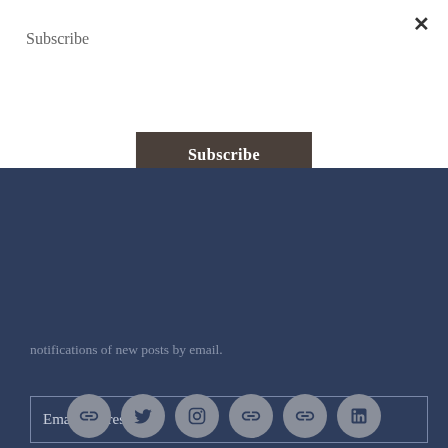Subscribe
Subscribe
notifications of new posts by email.
Email Address
Subscribe
Join 5,106 other followers
[Figure (infographic): Row of 6 social media icon circles: link, twitter, instagram, link, link, linkedin]